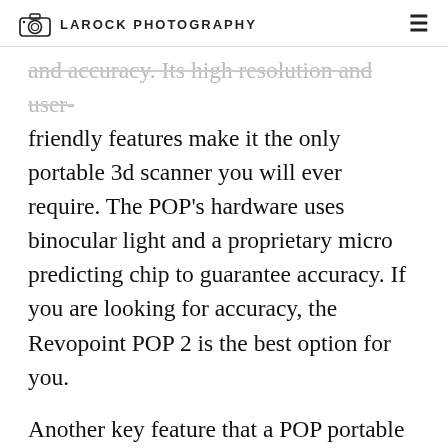LAROCK PHOTOGRAPHY
and accuracy. Its high resolution and user-friendly features make it the only portable 3d scanner you will ever require. The POP's hardware uses binocular light and a proprietary micro predicting chip to guarantee accuracy. If you are looking for accuracy, the Revopoint POP 2 is the best option for you.
Another key feature that a POP portable 3d scanner has is the capability to begin and stop briefly scanning. You can stop briefly scanning before you move your model.